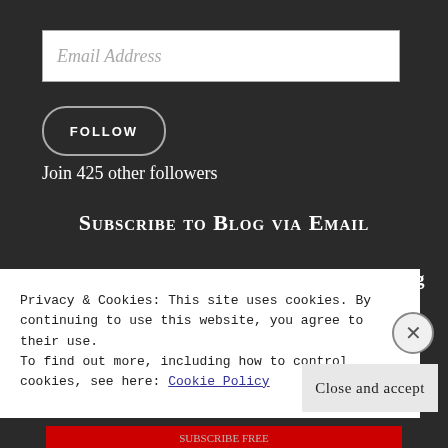Email Address
FOLLOW
Join 425 other followers
SUBSCRIBE TO BLOG VIA EMAIL
Enter your email address to subscribe to this blog
Privacy & Cookies: This site uses cookies. By continuing to use this website, you agree to their use.
To find out more, including how to control cookies, see here: Cookie Policy
Close and accept